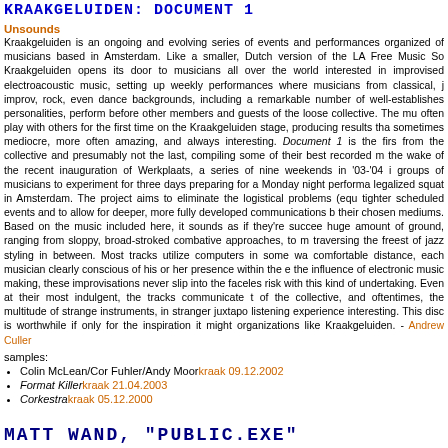KRAAKGELUIDEN: DOCUMENT 1
Unsounds
Kraakgeluiden is an ongoing and evolving series of events and performances organized of musicians based in Amsterdam. Like a smaller, Dutch version of the LA Free Music So Kraakgeluiden opens its door to musicians all over the world interested in improvised electroacoustic music, setting up weekly performances where musicians from classical, improv, rock, even dance backgrounds, including a remarkable number of well-established personalities, perform before other members and guests of the loose collective. The mu often play with others for the first time on the Kraakgeluiden stage, producing results tha sometimes mediocre, more often amazing, and always interesting. Document 1 is the firs from the collective and presumably not the last, compiling some of their best recorded m the wake of the recent inauguration of Werkplaats, a series of nine weekends in '03-'04 groups of musicians to experiment for three days preparing for a Monday night performa legalized squat in Amsterdam. The project aims to eliminate the logistical problems (equ tighter scheduled events and to allow for deeper, more fully developed communications their chosen mediums. Based on the music included here, it sounds as if they're succee huge amount of ground, ranging from sloppy, broad-stroked combative approaches, to n traversing the freest of jazz styling in between. Most tracks utilize computers in some wa comfortable distance, each musician clearly conscious of his or her presence within the the influence of electronic music making, these improvisations never slip into the faceles risk with this kind of undertaking. Even at their most indulgent, the tracks communicate t of the collective, and oftentimes, the multitude of strange instruments, in stranger juxtap listening experience interesting. This disc is worthwhile if only for the inspiration it might organizations like Kraakgeluiden. - Andrew Culler
samples:
Colin McLean/Cor Fuhler/Andy Moorkraak 09.12.2002
Format Killerkraak 21.04.2003
Corkestrakraak 05.12.2000
MATT WAND, "PUBLIC.EXE"
Dekorder
After some research I've learned that someone, or perhaps several nerds, working simul different countries (as these things usually occur), has developed software for turning G